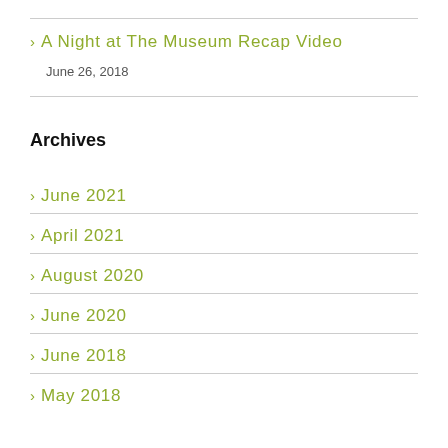> A Night at The Museum Recap Video
June 26, 2018
Archives
> June 2021
> April 2021
> August 2020
> June 2020
> June 2018
> May 2018